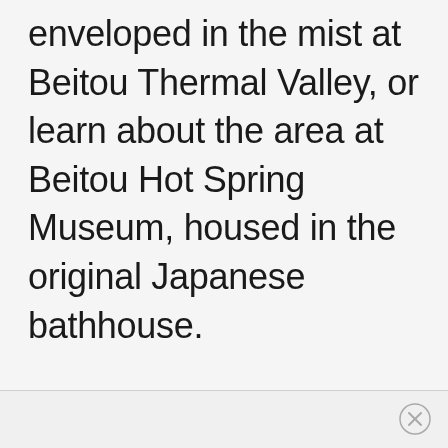enveloped in the mist at Beitou Thermal Valley, or learn about the area at Beitou Hot Spring Museum, housed in the original Japanese bathhouse.
×